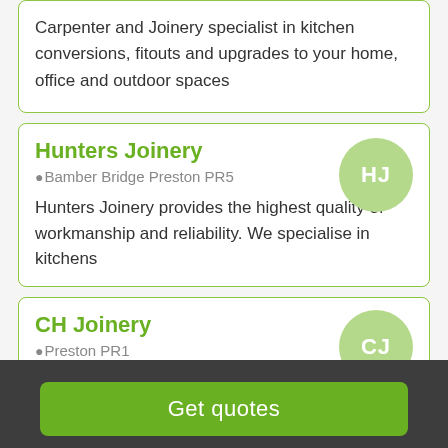Carpenter and Joinery specialist in kitchen conversions,  fitouts and upgrades to your home, office and outdoor spaces
Hunters Joinery
Bamber Bridge Preston PR5
Hunters Joinery provides the highest quality of workmanship and reliability. We specialise in kitchens
CH Joinery
Preston PR1
Get quotes